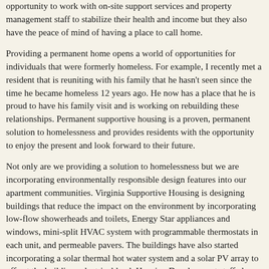opportunity to work with on-site support services and property management staff to stabilize their health and income but they also have the peace of mind of having a place to call home.
Providing a permanent home opens a world of opportunities for individuals that were formerly homeless. For example, I recently met a resident that is reuniting with his family that he hasn't seen since the time he became homeless 12 years ago. He now has a place that he is proud to have his family visit and is working on rebuilding these relationships. Permanent supportive housing is a proven, permanent solution to homelessness and provides residents with the opportunity to enjoy the present and look forward to their future.
Not only are we providing a solution to homelessness but we are incorporating environmentally responsible design features into our apartment communities. Virginia Supportive Housing is designing buildings that reduce the impact on the environment by incorporating low-flow showerheads and toilets, Energy Star appliances and windows, mini-split HVAC system with programmable thermostats in each unit, and permeable pavers. The buildings have also started incorporating a solar thermal hot water system and a solar PV array to off-set the buildings electrical load. Housing Development staff also work with communities to get input on the design and siting of developments to ensure that the buildings are designed to blend in with the community and be located near public transportation, shopping, etc. to allow for greater independence. We constantly strive to improve the energy efficiency of